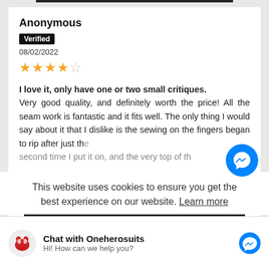Anonymous
Verified
08/02/2022
[Figure (other): 4 filled stars and 1 empty star rating]
I love it, only have one or two small critiques. Very good quality, and definitely worth the price! All the seam work is fantastic and it fits well. The only thing I would say about it that I dislike is the sewing on the fingers began to rip after just the second time I put it on, and the very top of th
This website uses cookies to ensure you get the best experience on our website. Learn more
Chat with Oneherosuits
Hi! How can we help you?